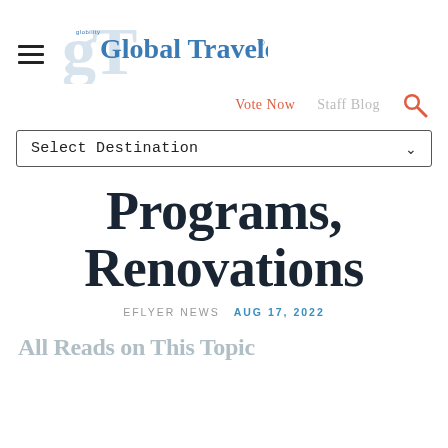[Figure (logo): Global Traveler magazine logo with stylized 'gT' monogram in blue and the text 'Global Traveler' in blue serif font with registered trademark symbol]
Vote Now  Staff Blog
Select Destination
Programs, Renovations
EFLYER NEWS  AUG 17, 2022
All Reads on This Topic